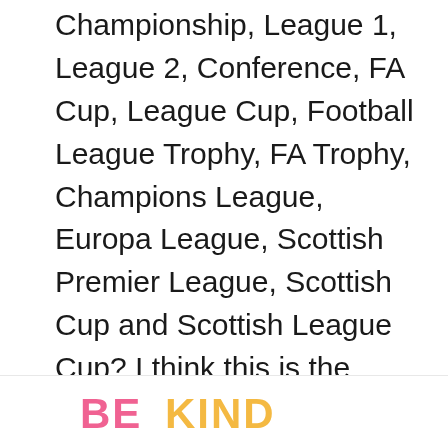Championship, League 1, League 2, Conference, FA Cup, League Cup, Football League Trophy, FA Trophy, Champions League, Europa League, Scottish Premier League, Scottish Cup and Scottish League Cup? I think this is the hardest UK sports trivia question I could find. The answer is Gary Hooper. Anyone get that one?
[Figure (infographic): Advertisement banner reading 'BE KIND' in pink and yellow large bold letters, with a decorative floral logo image, a close X button, and a WW (Weight Watchers) logo icon on the right.]